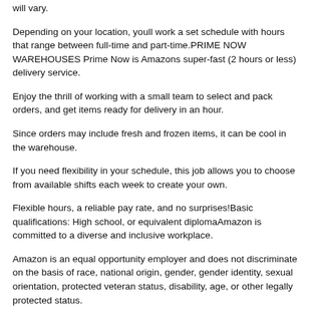will vary.
Depending on your location, youll work a set schedule with hours that range between full-time and part-time.PRIME NOW WAREHOUSES Prime Now is Amazons super-fast (2 hours or less) delivery service.
Enjoy the thrill of working with a small team to select and pack orders, and get items ready for delivery in an hour.
Since orders may include fresh and frozen items, it can be cool in the warehouse.
If you need flexibility in your schedule, this job allows you to choose from available shifts each week to create your own.
Flexible hours, a reliable pay rate, and no surprises!Basic qualifications: High school, or equivalent diplomaAmazon is committed to a diverse and inclusive workplace.
Amazon is an equal opportunity employer and does not discriminate on the basis of race, national origin, gender, gender identity, sexual orientation, protected veteran status, disability, age, or other legally protected status.
For individuals with disabilities who would like to request an